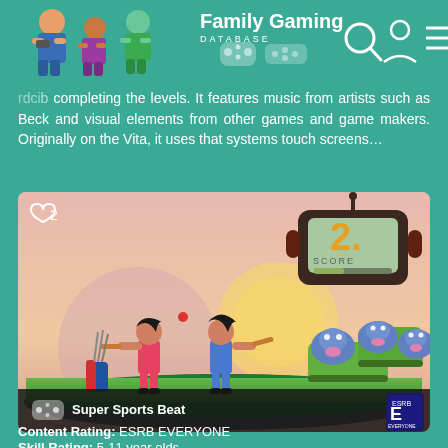Family Gaming DATABASE
completing the levels. It features music from artists such as Beck and visual elements from other games and game makers. Originally on the Vita, it uses that systems touch screens...
[Figure (screenshot): Screenshot of Super Sports Beat game showing two anime-style characters with baseball bats, blue hippo enemies on green platforms, a score display showing '2' and 'SCORE', and a heart/like counter showing 2. Pink/sunset background.]
Super Sports Beat
Content Rating: ESRB EVERYONE
Skill Rating: 5-11 year olds